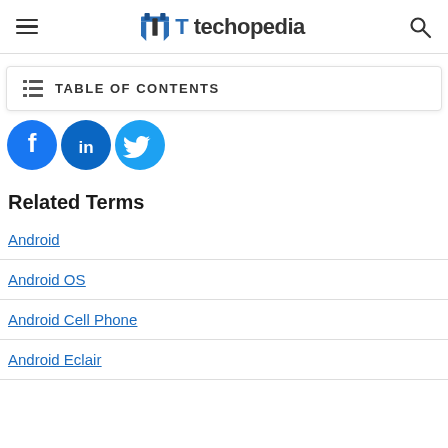techopedia
TABLE OF CONTENTS
[Figure (illustration): Three social media share buttons: Facebook (blue circle with f), LinkedIn (blue circle with in), Twitter (blue circle with bird icon)]
Related Terms
Android
Android OS
Android Cell Phone
Android Eclair